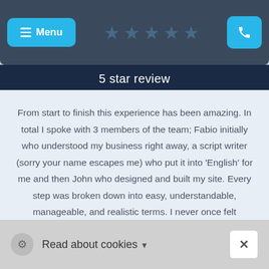≡ Menu  ★★★★★  [phone]
5 star review
From start to finish this experience has been amazing. In total I spoke with 3 members of the team; Fabio initially who understood my business right away, a script writer (sorry your name escapes me) who put it into 'English' for me and then John who designed and built my site. Every step was broken down into easy, understandable, manageable, and realistic terms. I never once felt
Read about cookies ▼  ✕